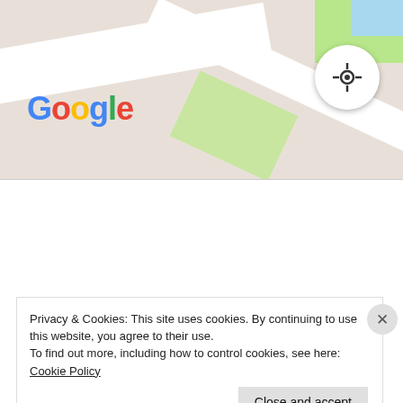[Figure (map): Google Maps view showing street map with roads and green areas, Google logo bottom left, location/GPS button top right]
[Figure (infographic): Navigation mode selector with three options: Explore (blue, active), Driving, Public transport]
[Figure (screenshot): Advertisement banner with dark navy background showing WordPress logo and text: Opinions. We all have them!]
REPORT THIS AD
On Abovyan, wait around the benches opposite the
Privacy & Cookies: This site uses cookies. By continuing to use this website, you agree to their use.
To find out more, including how to control cookies, see here: Cookie Policy
Close and accept